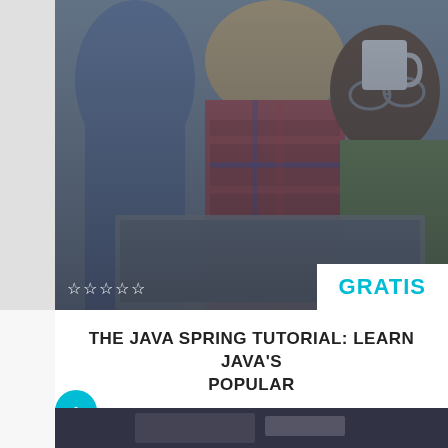[Figure (photo): Two women studying together with a laptop and coffee cup, viewed from above]
THE JAVA SPRING TUTORIAL: LEARN JAVA'S POPULAR
de julio de 2017 / No Comments 18
[Figure (photo): Bottom strip showing another course thumbnail image]